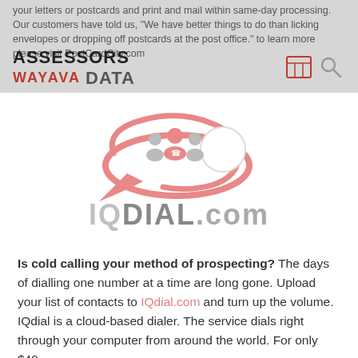your letters or postcards and print and mail within same-day processing. Our customers have told us, "We have better things to do than licking envelopes or dropping off postcards at the post office." to learn more please visit PostCardCity.com
[Figure (logo): ASSESSORS DATA header overlay with red WAYAVA branding, search icon and table icon]
[Figure (logo): IQDial.com logo with pink speech bubble containing people silhouettes and phone icon, gray IQDIAL.com wordmark below]
Is cold calling your method of prospecting? The days of dialling one number at a time are long gone. Upload your list of contacts to IQdial.com and turn up the volume. IQdial is a cloud-based dialer. The service dials right through your computer from around the world. For only $49